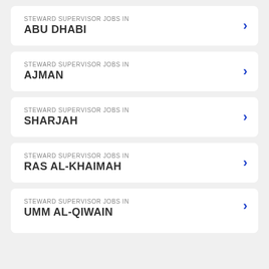STEWARD SUPERVISOR JOBS IN ABU DHABI
STEWARD SUPERVISOR JOBS IN AJMAN
STEWARD SUPERVISOR JOBS IN SHARJAH
STEWARD SUPERVISOR JOBS IN RAS AL-KHAIMAH
STEWARD SUPERVISOR JOBS IN [partially visible]